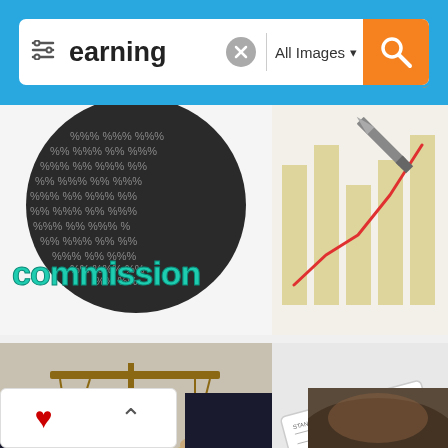[Figure (screenshot): Image search interface screenshot showing a search bar with the query 'earning', an 'All Images' filter dropdown, and an orange search button. Below the search bar is a grid of stock images related to earning: a 3D commission ball with percent signs, a financial chart with pen, a scales of justice with coins, and a 'Paying Your Dues' check image. Partial images visible at bottom.]